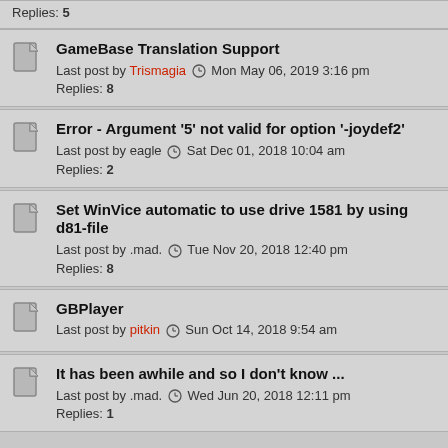Replies: 5
GameBase Translation Support
Last post by Trismagia  Mon May 06, 2019 3:16 pm
Replies: 8
Error - Argument '5' not valid for option '-joydef2'
Last post by eagle  Sat Dec 01, 2018 10:04 am
Replies: 2
Set WinVice automatic to use drive 1581 by using d81-file
Last post by .mad.  Tue Nov 20, 2018 12:40 pm
Replies: 8
GBPlayer
Last post by pitkin  Sun Oct 14, 2018 9:54 am
It has been awhile and so I don't know ...
Last post by .mad.  Wed Jun 20, 2018 12:11 pm
Replies: 1